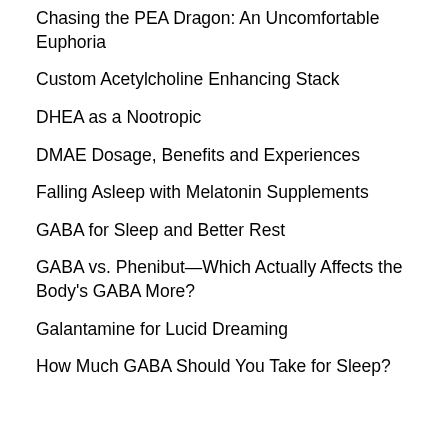Chasing the PEA Dragon: An Uncomfortable Euphoria
Custom Acetylcholine Enhancing Stack
DHEA as a Nootropic
DMAE Dosage, Benefits and Experiences
Falling Asleep with Melatonin Supplements
GABA for Sleep and Better Rest
GABA vs. Phenibut—Which Actually Affects the Body's GABA More?
Galantamine for Lucid Dreaming
How Much GABA Should You Take for Sleep?